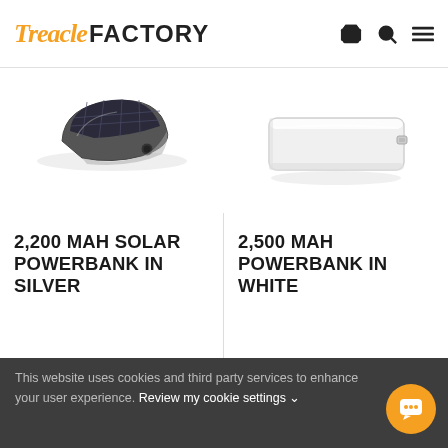Treacle FACTORY
[Figure (photo): Solar powerbank in silver, angled view showing solar panel on back]
[Figure (photo): Slim white powerbank, rectangular shape with USB port visible]
2,200 MAH SOLAR POWERBANK IN SILVER
2,500 MAH POWERBANK IN WHITE
This website uses cookies and third party services to enhance your user experience. Review my cookie settings ∨